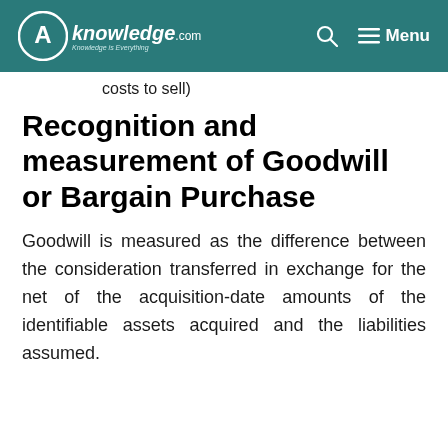CAknowledge.com — Knowledge is Everything | Search | Menu
costs to sell)
Recognition and measurement of Goodwill or Bargain Purchase
Goodwill is measured as the difference between the consideration transferred in exchange for the net of the acquisition-date amounts of the identifiable assets acquired and the liabilities assumed.